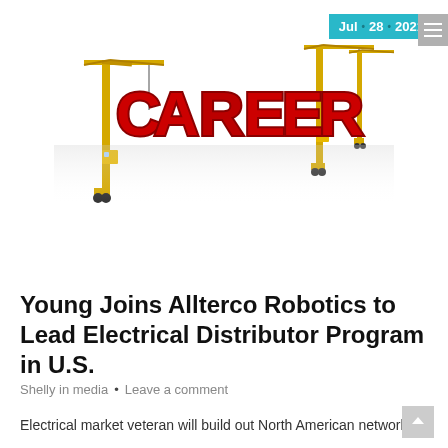[Figure (illustration): 3D illustration of large red letters spelling CAREER surrounded by yellow construction cranes on a white reflective surface]
Jul • 28 • 2021
Young Joins Allterco Robotics to Lead Electrical Distributor Program in U.S.
Shelly in media • Leave a comment
Electrical market veteran will build out North American network of